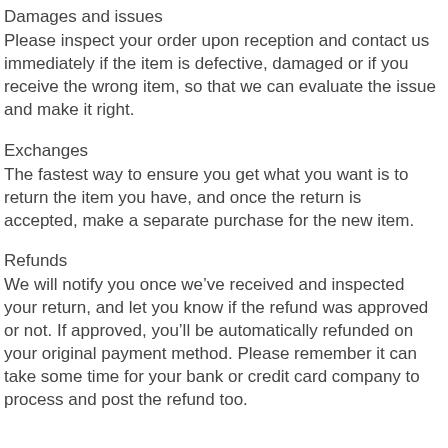Damages and issues
Please inspect your order upon reception and contact us immediately if the item is defective, damaged or if you receive the wrong item, so that we can evaluate the issue and make it right.
Exchanges
The fastest way to ensure you get what you want is to return the item you have, and once the return is accepted, make a separate purchase for the new item.
Refunds
We will notify you once we've received and inspected your return, and let you know if the refund was approved or not. If approved, you'll be automatically refunded on your original payment method. Please remember it can take some time for your bank or credit card company to process and post the refund too.